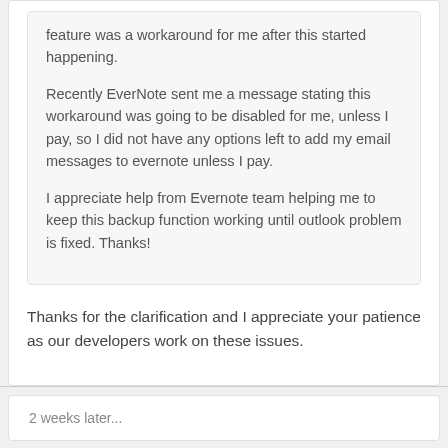feature was a workaround for me after this started happening.
Recently EverNote sent me a message stating this workaround was going to be disabled for me, unless I pay, so I did not have any options left to add my email messages to evernote unless I pay.
I appreciate help from Evernote team helping me to keep this backup function working until outlook problem is fixed. Thanks!
Thanks for the clarification and I appreciate your patience as our developers work on these issues.
2 weeks later...
JMH2006  0
Posted August 7, 2015